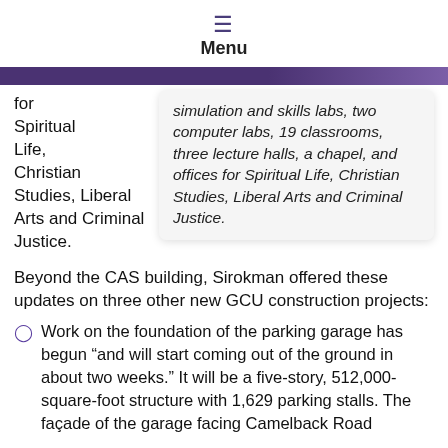Menu
simulation and skills labs, two computer labs, 19 classrooms, three lecture halls, a chapel, and offices for Spiritual Life, Christian Studies, Liberal Arts and Criminal Justice.
for Spiritual Life, Christian Studies, Liberal Arts and Criminal Justice.
Beyond the CAS building, Sirokman offered these updates on three other new GCU construction projects:
Work on the foundation of the parking garage has begun “and will start coming out of the ground in about two weeks.” It will be a five-story, 512,000-square-foot structure with 1,629 parking stalls. The façade of the garage facing Camelback Road